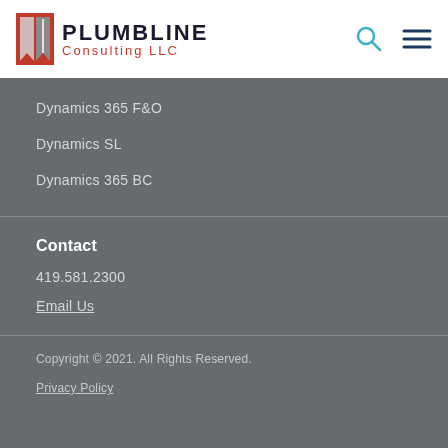[Figure (logo): Plumbline Consulting LLC logo with red and grey feather/bookmark icon and company name]
Dynamics 365 F&O
Dynamics SL
Dynamics 365 BC
Contact
419.581.2300
Email Us
Copyright © 2021. All Rights Reserved.
Privacy Policy